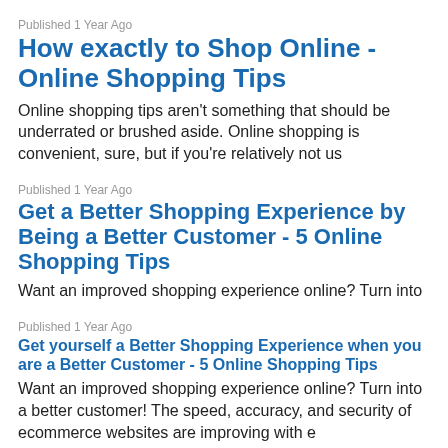Published 1 Year Ago
How exactly to Shop Online - Online Shopping Tips
Online shopping tips aren't something that should be underrated or brushed aside. Online shopping is convenient, sure, but if you're relatively not us
Published 1 Year Ago
Get a Better Shopping Experience by Being a Better Customer - 5 Online Shopping Tips
Want an improved shopping experience online? Turn into
Published 1 Year Ago
Get yourself a Better Shopping Experience when you are a Better Customer - 5 Online Shopping Tips
Want an improved shopping experience online? Turn into a better customer! The speed, accuracy, and security of ecommerce websites are improving with e